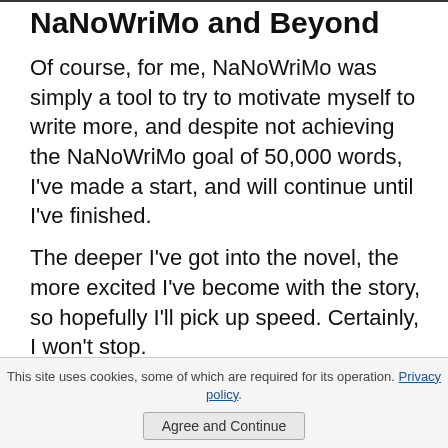NaNoWriMo and Beyond
Of course, for me, NaNoWriMo was simply a tool to try to motivate myself to write more, and despite not achieving the NaNoWriMo goal of 50,000 words, I've made a start, and will continue until I've finished.
The deeper I've got into the novel, the more excited I've become with the story, so hopefully I'll pick up speed. Certainly, I won't stop.
Homepage
New! Comments
Have your say about what you just read! Leave me a comment in the box below.
This site uses cookies, some of which are required for its operation. Privacy policy. Agree and Continue